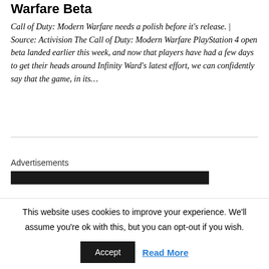Warfare Beta
Call of Duty: Modern Warfare needs a polish before it's release. | Source: Activision The Call of Duty: Modern Warfare PlayStation 4 open beta landed earlier this week, and now that players have had a few days to get their heads around Infinity Ward's latest effort, we can confidently say that the game, in its...
Advertisements
This website uses cookies to improve your experience. We'll assume you're ok with this, but you can opt-out if you wish.